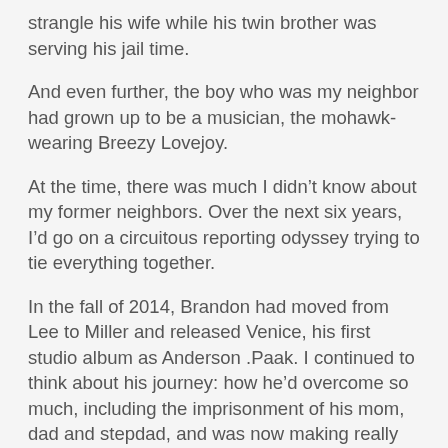strangle his wife while his twin brother was serving his jail time.
And even further, the boy who was my neighbor had grown up to be a musician, the mohawk-wearing Breezy Lovejoy.
At the time, there was much I didn't know about my former neighbors. Over the next six years, I'd go on a circuitous reporting odyssey trying to tie everything together.
In the fall of 2014, Brandon had moved from Lee to Miller and released Venice, his first studio album as Anderson .Paak. I continued to think about his journey: how he'd overcome so much, including the imprisonment of his mom, dad and stepdad, and was now making really cool, alternative hip-hop music.
In the spring of 2015, Miller helped set up the meeting .Paak had been waiting for all of his career – a meeting with the artist who shaped Dr. Dre.